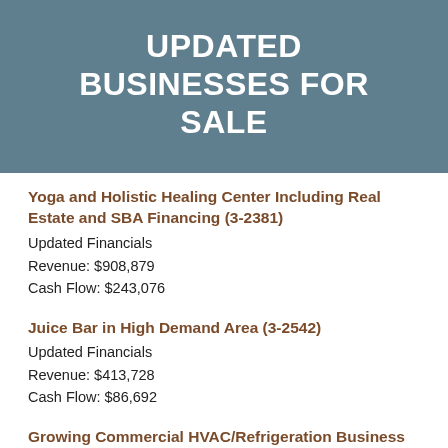UPDATED BUSINESSES FOR SALE
Yoga and Holistic Healing Center Including Real Estate and SBA Financing (3-2381)
Updated Financials
Revenue: $908,879
Cash Flow: $243,076
Juice Bar in High Demand Area (3-2542)
Updated Financials
Revenue: $413,728
Cash Flow: $86,692
Growing Commercial HVAC/Refrigeration Business (3-2519)